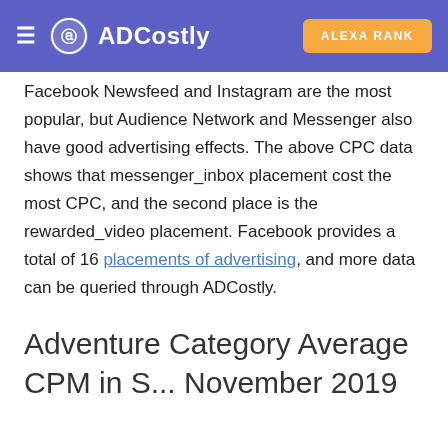ADCostly | ALEXA RANK
Facebook Newsfeed and Instagram are the most popular, but Audience Network and Messenger also have good advertising effects. The above CPC data shows that messenger_inbox placement cost the most CPC, and the second place is the rewarded_video placement. Facebook provides a total of 16 placements of advertising, and more data can be queried through ADCostly.
Adventure Category Average CPM in S... November 2019